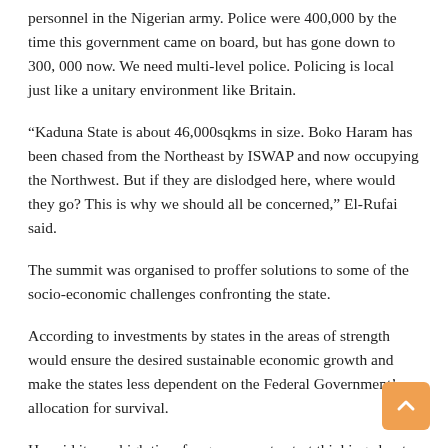personnel in the Nigerian army. Police were 400,000 by the time this government came on board, but has gone down to 300, 000 now. We need multi-level police. Policing is local just like a unitary environment like Britain.
“Kaduna State is about 46,000sqkms in size. Boko Haram has been chased from the Northeast by ISWAP and now occupying the Northwest. But if they are dislodged here, where would they go? This is why we should all be concerned,” El-Rufai said.
The summit was organised to proffer solutions to some of the socio-economic challenges confronting the state.
According to investments by states in the areas of strength would ensure the desired sustainable economic growth and make the states less dependent on the Federal Government’s allocation for survival.
He said it was high time for governors to start thinking about how to grow their economies like a nation, noting that they can achieve this by investing in the most appropriate ways in areas of their economic